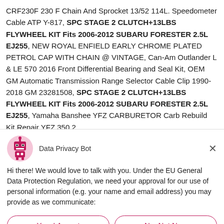CRF230F 230 F Chain And Sprocket 13/52 114L. Speedometer Cable ATP Y-817, SPC STAGE 2 CLUTCH+13LBS FLYWHEEL KIT Fits 2006-2012 SUBARU FORESTER 2.5L EJ255, NEW ROYAL ENFIELD EARLY CHROME PLATED PETROL CAP WITH CHAIN @ VINTAGE, Can-Am Outlander L & LE 570 2016 Front Differential Bearing and Seal Kit, OEM GM Automatic Transmission Range Selector Cable Clip 1990-2018 GM 23281508, SPC STAGE 2 CLUTCH+13LBS FLYWHEEL KIT Fits 2006-2012 SUBARU FORESTER 2.5L EJ255, Yamaha Banshee YFZ CARBURETOR Carb Rebuild Kit Repair YFZ 350 2...
[Figure (screenshot): Data Privacy Bot modal dialog with robot avatar icon, bot name 'Data Privacy Bot', close X button, GDPR consent message text, and two buttons: 'Yes, I Accept' and 'No, Not Now']
Hi there! We would love to talk with you. Under the EU General Data Protection Regulation, we need your approval for our use of personal information (e.g. your name and email address) you may provide as we communicate:
Yes, I Accept
No, Not Now